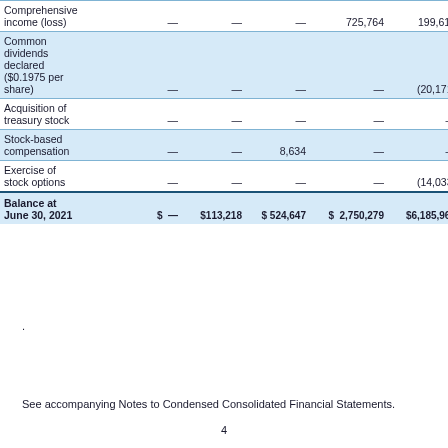|  |  |  |  |  |  |  |
| --- | --- | --- | --- | --- | --- | --- |
| Comprehensive income (loss) | — | — | — | 725,764 | 199,618 |  |
| Common dividends declared ($0.1975 per share) | — | — | — | — | (20,171) |  |
| Acquisition of treasury stock | — | — | — | — | — | (16… |
| Stock-based compensation | — | — | 8,634 | — | — |  |
| Exercise of stock options | — | — | — | — | (14,033) | 4… |
| Balance at June 30, 2021 | $  — | $113,218 | $ 524,647 | $  2,750,279 | $6,185,966 | $(95… |
.
See accompanying Notes to Condensed Consolidated Financial Statements.
4